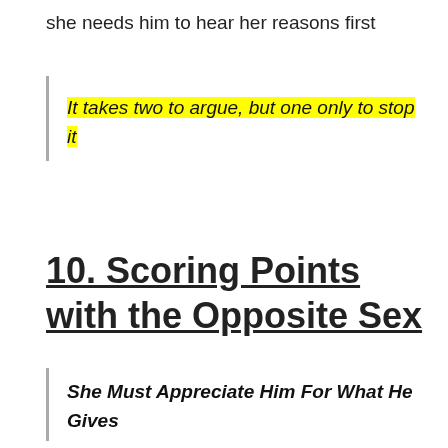she needs him to hear her reasons first
It takes two to argue, but one only to stop it
10. Scoring Points with the Opposite Sex
She Must Appreciate Him For What He Gives